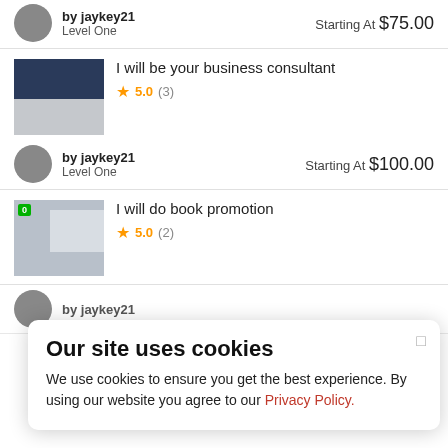by jaykey21 | Level One | Starting At $75.00
I will be your business consultant
5.0 (3)
by jaykey21 | Level One | Starting At $100.00
I will do book promotion
5.0 (2)
by jaykey21
Our site uses cookies
We use cookies to ensure you get the best experience. By using our website you agree to our Privacy Policy.